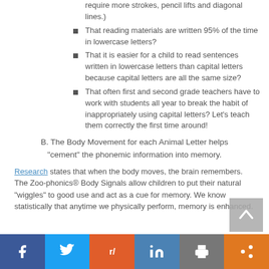require more strokes, pencil lifts and diagonal lines.)
That reading materials are written 95% of the time in lowercase letters?
That it is easier for a child to read sentences written in lowercase letters than capital letters because capital letters are all the same size?
That often first and second grade teachers have to work with students all year to break the habit of inappropriately using capital letters? Let's teach them correctly the first time around!
B. The Body Movement for each Animal Letter helps "cement" the phonemic information into memory.
Research states that when the body moves, the brain remembers. The Zoo-phonics® Body Signals allow children to put their natural "wiggles" to good use and act as a cue for memory. We know statistically that anytime we physically perform, memory is enhanced.